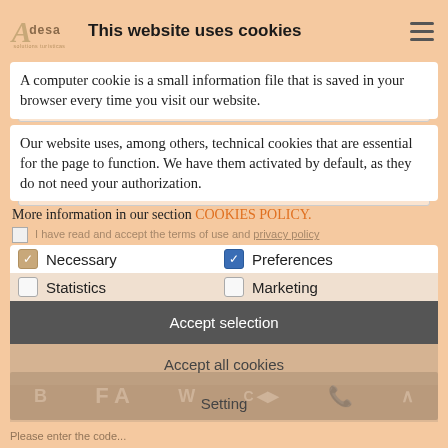This website uses cookies
A computer cookie is a small information file that is saved in your browser every time you visit our website.
Our website uses, among others, technical cookies that are essential for the page to function. We have them activated by default, as they do not need your authorization.
More information in our section COOKIES POLICY.
I have read and accept the terms of use and privacy policy
Necessary   Preferences   Statistics   Marketing
Accept selection
Accept all cookies
Setting